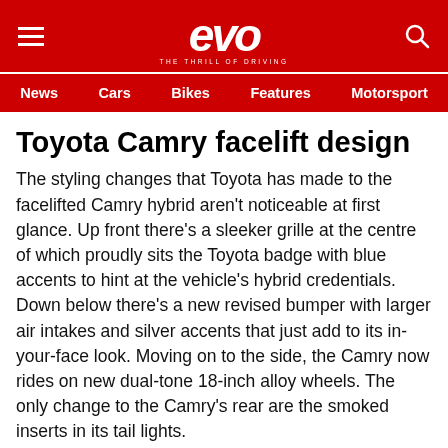evo — THE THRILL OF DRIVING
News | Cars | Bikes | Features | Motorsport
Toyota Camry facelift design
The styling changes that Toyota has made to the facelifted Camry hybrid aren't noticeable at first glance. Up front there's a sleeker grille at the centre of which proudly sits the Toyota badge with blue accents to hint at the vehicle's hybrid credentials. Down below there's a new revised bumper with larger air intakes and silver accents that just add to its in-your-face look. Moving on to the side, the Camry now rides on new dual-tone 18-inch alloy wheels. The only change to the Camry's rear are the smoked inserts in its tail lights.